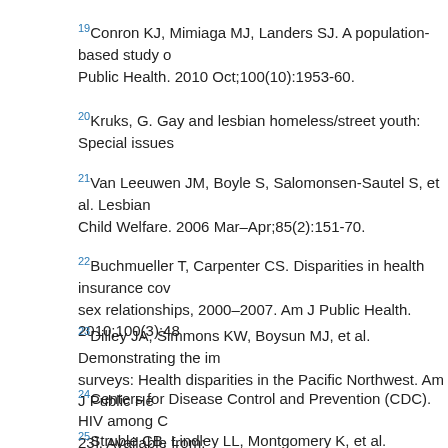19Conron KJ, Mimiaga MJ, Landers SJ. A population-based study o... Public Health. 2010 Oct;100(10):1953-60.
20Kruks, G. Gay and lesbian homeless/street youth: Special issues...
21Van Leeuwen JM, Boyle S, Salomonsen-Sautel S, et al. Lesbian... Child Welfare. 2006 Mar–Apr;85(2):151-70.
22Buchmueller T, Carpenter CS. Disparities in health insurance cov... sex relationships, 2000–2007. Am J Public Health. 2010;100(3):48...
23Dilley JA, Simmons KW, Boysun MJ, et al. Demonstrating the im... surveys: Health disparities in the Pacific Northwest. Am J Public He...
24Centers for Disease Control and Prevention (CDC). HIV among C... 23]. Available from: https://www.cdc.gov/nchhstp/newsroom/do...
25Struble CB, Lindley LL, Montgomery K, et al. Overweight and ob...